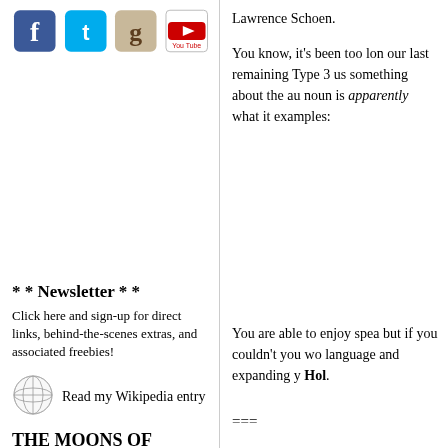[Figure (other): Row of four social media icons: Facebook (blue), Twitter (light blue), Goodreads (tan/g), YouTube (red/white)]
* * Newsletter * *
Click here and sign-up for direct links, behind-the-scenes extras, and associated freebies!
[Figure (logo): Wikipedia globe logo]
Read my Wikipedia entry
THE MOONS OF BARSK Audio Sample
Veteran actor and director, J. G. Hertler (General Martok to Star Trek: DSN fans) narrates the audio version of The Moons of Barsk. Click to hear him read from the first chapter!
Lawrence Schoen.
You know, it’s been too long since our last remaining Type 3 s us something about the au noun is apparently what it examples:
You are able to enjoy spea but if you couldn’t you wo language and expanding y Hol.
===